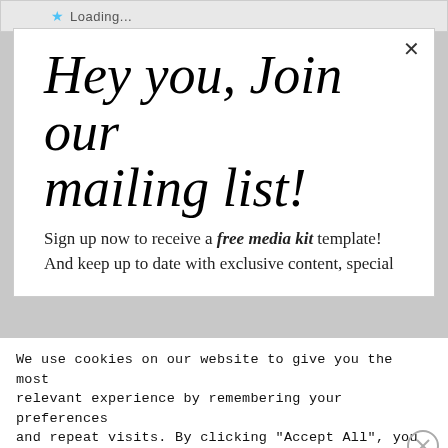Loading...
Hey you, Join our mailing list!
Sign up now to receive a free media kit template! And keep up to date with exclusive content, special
We use cookies on our website to give you the most relevant experience by remembering your preferences and repeat visits. By clicking "Accept All", you consent to the use of ALL the cookies. However, you may visit "Cookie Settings" to provide a controlled consent.
Advertisements
[Figure (logo): Jetpack advertisement banner with logo and 'Back up your site' button on green background]